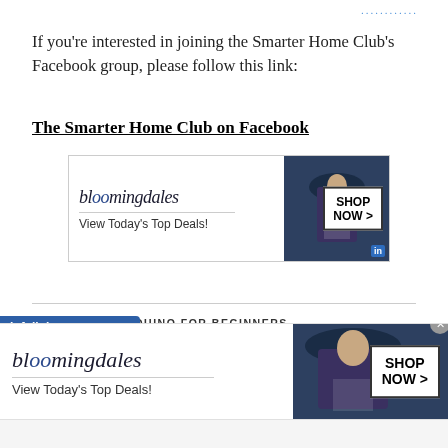............
If you're interested in joining the Smarter Home Club's Facebook group, please follow this link:
The Smarter Home Club on Facebook
[Figure (screenshot): Bloomingdales advertisement banner: logo, 'View Today's Top Deals!', woman in hat, 'SHOP NOW >' button]
ARDUINO , ARDUINO FOR BEGINNERS , ARDUINO IDE , BREADBOARD , C++ , MICRO-CONTROLLERS
[Figure (screenshot): Infolinks bar and Bloomingdales advertisement banner bottom with close button]